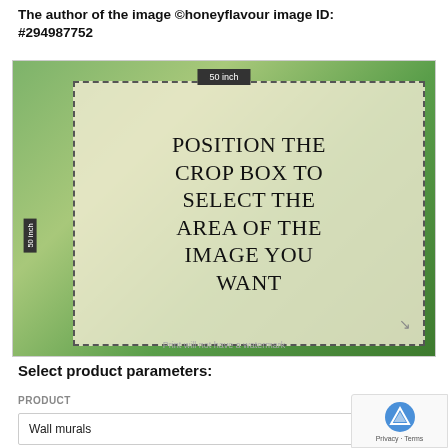The author of the image ©honeyflavour image ID: #294987752
[Figure (screenshot): A wall mural image preview tool showing a forest/nature scene with a dashed crop box overlay and text 'POSITION THE CROP BOX TO SELECT THE AREA OF THE IMAGE YOU WANT'. Labels showing '50 inch' appear on top and left sides. A resize arrow is visible at bottom-right of the crop box. A faint watermark text 'Print will not have a watermark' is shown at the bottom.]
Select product parameters:
PRODUCT
Wall murals